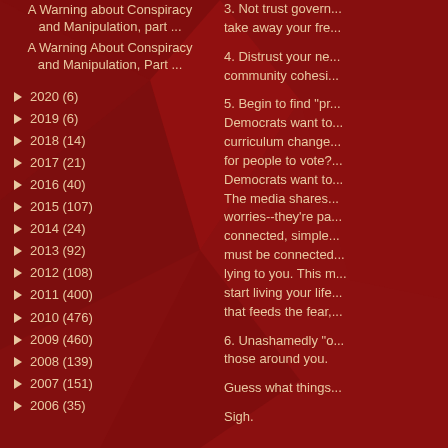A Warning about Conspiracy and Manipulation, part ...
A Warning About Conspiracy and Manipulation, Part ...
► 2020 (6)
► 2019 (6)
► 2018 (14)
► 2017 (21)
► 2016 (40)
► 2015 (107)
► 2014 (24)
► 2013 (92)
► 2012 (108)
► 2011 (400)
► 2010 (476)
► 2009 (460)
► 2008 (139)
► 2007 (151)
► 2006 (35)
3. Not trust govern... take away your fre...
4. Distrust your ne... community cohesi...
5. Begin to find "pr... Democrats want to... curriculum change... for people to vote?... Democrats want to... The media shares... worries--they're pa... connected, simple... must be connected... lying to you. This m... start living your life... that feeds the fear,...
6. Unashamedly "o... those around you.
Guess what things...
Sigh.